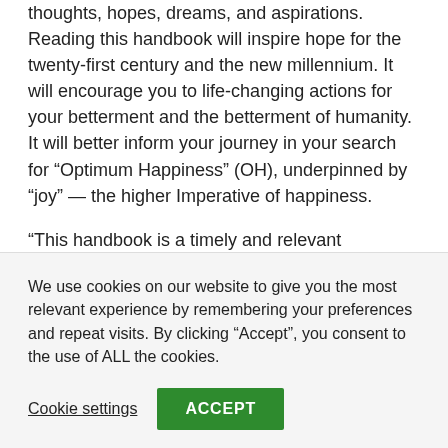thoughts, hopes, dreams, and aspirations. Reading this handbook will inspire hope for the twenty-first century and the new millennium. It will encourage you to life-changing actions for your betterment and the betterment of humanity. It will better inform your journey in your search for “Optimum Happiness” (OH), underpinned by “joy” — the higher Imperative of happiness.
“This handbook is a timely and relevant encapsulation of the multifaceted dynamics encountered in one's 'search for happiness'. Not only have the authors opened up a
We use cookies on our website to give you the most relevant experience by remembering your preferences and repeat visits. By clicking "Accept", you consent to the use of ALL the cookies.